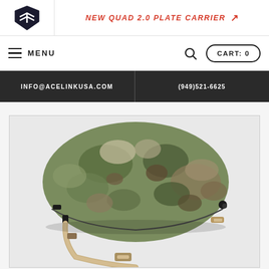[Figure (logo): Acelink USA shield logo with stylized letters]
NEW QUAD 2.0 PLATE CARRIER ↗
☰ MENU
CART: 0
INFO@ACELINKUSA.COM
(949)521-6625
[Figure (photo): Military tactical helmet with multicam camouflage pattern, chin strap visible, on light gray background]